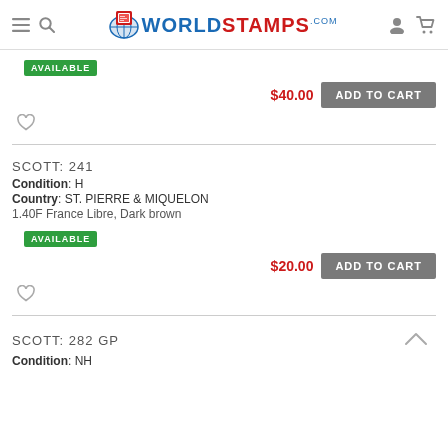WorldStamps.com
AVAILABLE
$40.00  ADD TO CART
SCOTT: 241
Condition: H
Country: ST. PIERRE & MIQUELON
1.40F France Libre, Dark brown
AVAILABLE
$20.00  ADD TO CART
SCOTT: 282 GP
Condition: NH